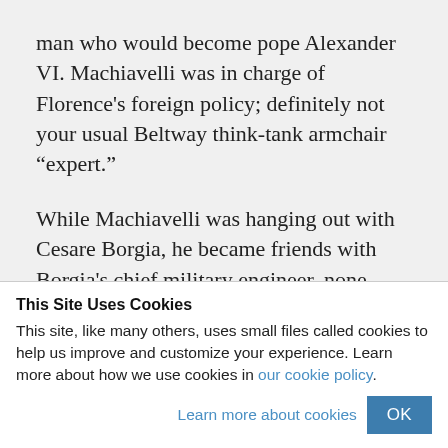man who would become pope Alexander VI. Machiavelli was in charge of Florence’s foreign policy; definitely not your usual Beltway think-tank armchair “expert.”
While Machiavelli was hanging out with Cesare Borgia, he became friends with Borgia’s chief military engineer, none other than Leonardo da Vinci. One would need a
This Site Uses Cookies
This site, like many others, uses small files called cookies to help us improve and customize your experience. Learn more about how we use cookies in our cookie policy.
Learn more about cookies
OK